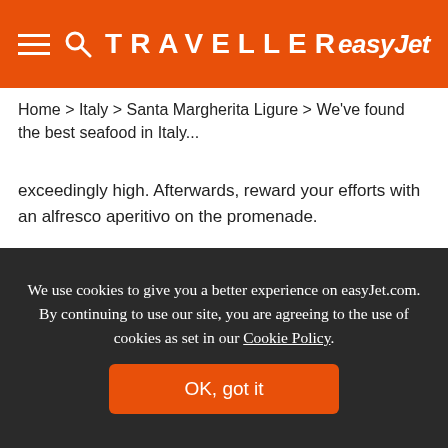TRAVELLER | easyJet
Home > Italy > Santa Margherita Ligure > We've found the best seafood in Italy...
exceedingly high. Afterwards, reward your efforts with an alfresco aperitivo on the promenade.
Book flights and holidays to Italy
IT'S A GREAT JUMPING-OFF
We use cookies to give you a better experience on easyJet.com. By continuing to use our site, you are agreeing to the use of cookies as set in our Cookie Policy.
OK, got it